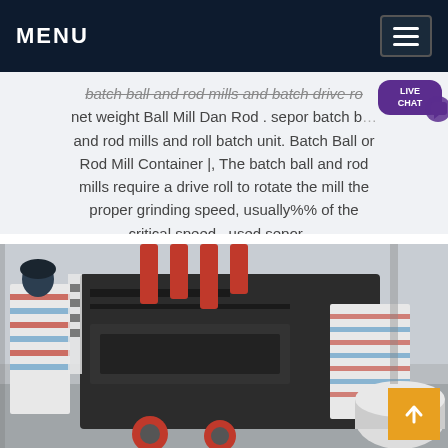MENU
batch ball and rod mills and batch drive r... net weight Ball Mill Dan Rod . sepor batch ball and rod mills and roll batch unit. Batch Ball or Rod Mill Container |, The batch ball and rod mills require a drive roll to rotate the mill the proper grinding speed, usually%% of the critical speed . used sepor ...
[Figure (photo): Industrial machinery photo showing a large black impact crusher or similar heavy grinding mill equipment in a factory/warehouse setting. Red hydraulic arms visible on top. Workers in striped coveralls visible on the left. Large cylindrical component on the right side.]